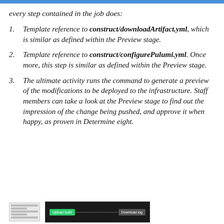every step contained in the job does:
1. Template reference to construct/downloadArtifact.yml, which is similar as defined within the Preview stage.
2. Template reference to construct/configurePulumi.yml. Once more, this step is similar as defined within the Preview stage.
3. The ultimate activity runs the command to generate a preview of the modifications to be deployed to the infrastructure. Staff members can take a look at the Preview stage to find out the impression of the change being pushed, and approve it when happy, as proven in Determine eight.
[Figure (screenshot): Screenshot of a CI/CD pipeline interface showing a dark-themed job output panel with green and grey action buttons]